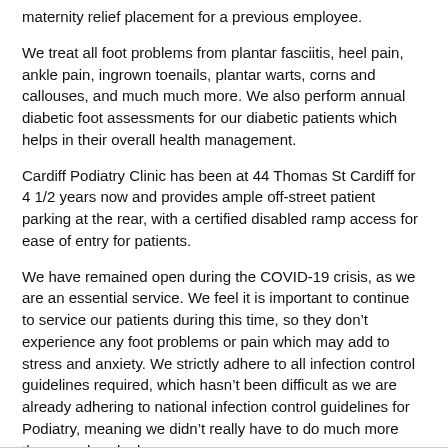maternity relief placement for a previous employee.
We treat all foot problems from plantar fasciitis, heel pain, ankle pain, ingrown toenails, plantar warts, corns and callouses, and much much more. We also perform annual diabetic foot assessments for our diabetic patients which helps in their overall health management.
Cardiff Podiatry Clinic has been at 44 Thomas St Cardiff for 4 1/2 years now and provides ample off-street patient parking at the rear, with a certified disabled ramp access for ease of entry for patients.
We have remained open during the COVID-19 crisis, as we are an essential service. We feel it is important to continue to service our patients during this time, so they don’t experience any foot problems or pain which may add to stress and anxiety. We strictly adhere to all infection control guidelines required, which hasn’t been difficult as we are already adhering to national infection control guidelines for Podiatry, meaning we didn’t really have to do much more than we already do.